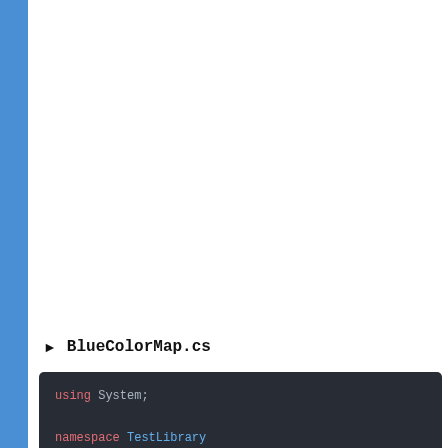http://... in/mai...
□□□□□□ □□ SW-
▶ BlueColorMap.cs
[Figure (screenshot): Dark-themed code editor showing C# source code for BlueColorMap.cs. Code shows: using System; namespace TestLibrary { /// <summary> /// 청색 색상 맵 /// </summary> public class BlueColorMap : IColorMap]